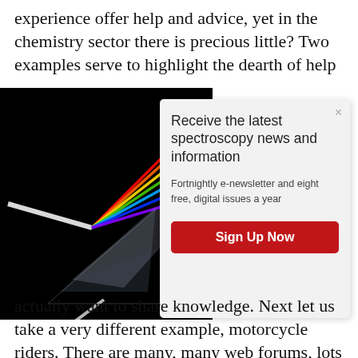experience offer help and advice, yet in the chemistry sector there is precious little? Two examples serve to highlight the dearth of help
[Figure (photo): A glass prism dispersing white light into a rainbow spectrum on a black background]
Receive the latest spectroscopy news and information

Fortnightly e-newsletter and eight free, digital issues a year

Sign Up Now
actually want to share knowledge. Next let us take a very different example, motorcycle riders. There are many, many web forums, lots of bloggers and no shortage of competent, professional advice. Many giving advice work in the industry: about six years ago the CEO of Triumph Motorcycles' North